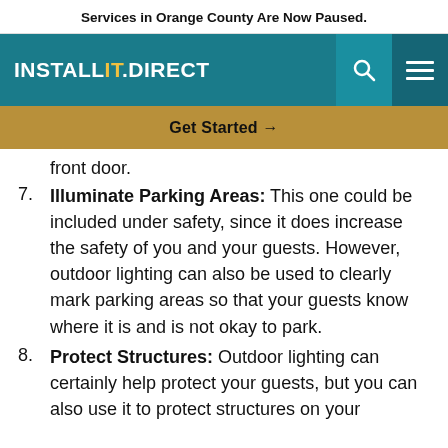Services in Orange County Are Now Paused.
[Figure (logo): INSTALL IT DIRECT logo in white text on teal background with search and menu icons]
Get Started →
front door.
7. Illuminate Parking Areas: This one could be included under safety, since it does increase the safety of you and your guests. However, outdoor lighting can also be used to clearly mark parking areas so that your guests know where it is and is not okay to park.
8. Protect Structures: Outdoor lighting can certainly help protect your guests, but you can also use it to protect structures on your